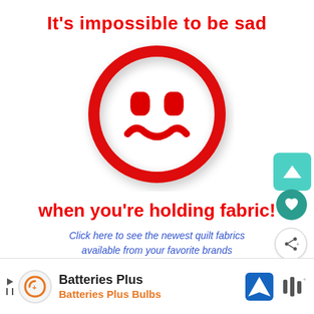It's impossible to be sad
[Figure (illustration): Red hand-drawn smiley face on white background with drop shadow]
when you're holding fabric!
Click here to see the newest quilt fabrics available from your favorite brands
[Figure (infographic): Ad bar: Batteries Plus / Batteries Plus Bulbs with orange logo, navigation icon and moat icon]